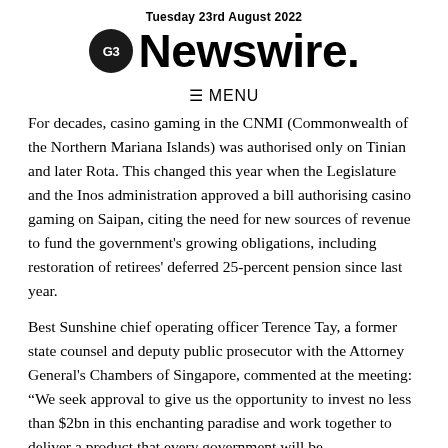Tuesday 23rd August 2022
[Figure (logo): G3 Newswire logo — circular G3 icon followed by bold sans-serif 'Newswire.' wordmark]
≡ MENU
For decades, casino gaming in the CNMI (Commonwealth of the Northern Mariana Islands) was authorised only on Tinian and later Rota. This changed this year when the Legislature and the Inos administration approved a bill authorising casino gaming on Saipan, citing the need for new sources of revenue to fund the government's growing obligations, including restoration of retirees' deferred 25-percent pension since last year.
Best Sunshine chief operating officer Terence Tay, a former state counsel and deputy public prosecutor with the Attorney General's Chambers of Singapore, commented at the meeting: “We seek approval to give us the opportunity to invest no less than $2bn in this enchanting paradise and work together to deliver a product that every government will be